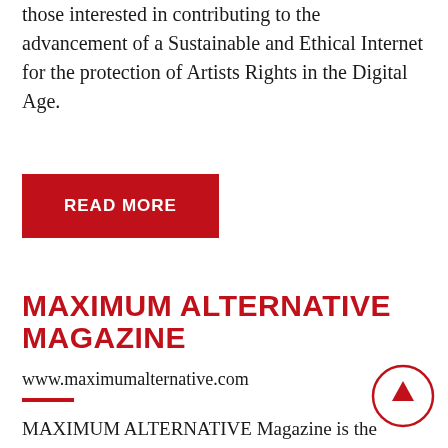those interested in contributing to the advancement of a Sustainable and Ethical Internet for the protection of Artists Rights in the Digital Age.
[Figure (other): Red 'READ MORE' button]
MAXIMUM ALTERNATIVE MAGAZINE
www.maximumalternative.com
MAXIMUM ALTERNATIVE Magazine is the BEST way to keep up with Modern Rock Radio and the Programmers who are on the front lines of programming trends
[Figure (other): Circular scroll-to-top button with red border and upward arrow]